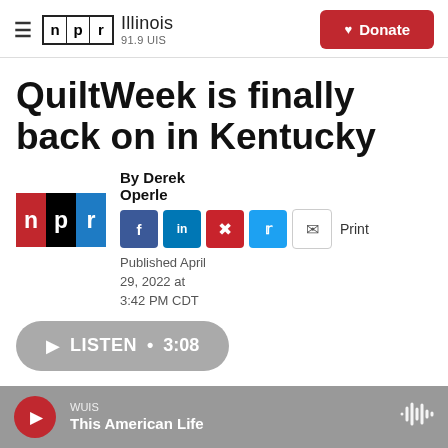NPR Illinois 91.9 UIS | Donate
QuiltWeek is finally back on in Kentucky
By Derek Operle
Published April 29, 2022 at 3:42 PM CDT
LISTEN • 3:08
WUIS This American Life